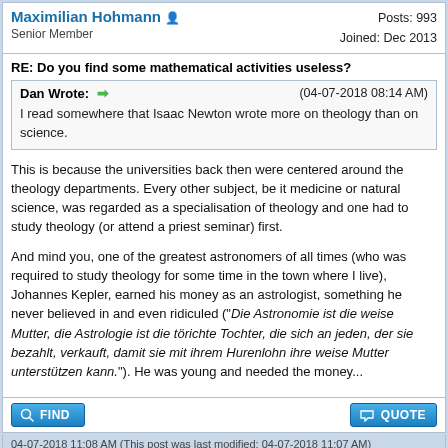Maximilian Hohmann   Senior Member   Posts: 993   Joined: Dec 2013
RE: Do you find some mathematical activities useless?
Dan Wrote: (04-07-2018 08:14 AM)
I read somewhere that Isaac Newton wrote more on theology than on science.
This is because the universities back then were centered around the theology departments. Every other subject, be it medicine or natural science, was regarded as a specialisation of theology and one had to study theology (or attend a priest seminar) first.
And mind you, one of the greatest astronomers of all times (who was required to study theology for some time in the town where I live), Johannes Kepler, earned his money as an astrologist, something he never believed in and even ridiculed ("Die Astronomie ist die weise Mutter, die Astrologie ist die törichte Tochter, die sich an jeden, der sie bezahlt, verkauft, damit sie mit ihrem Hurenlohn ihre weise Mutter unterstützen kann."). He was young and needed the money...
FIND   QUOTE
04-07-2018 11:08 AM (This post was last modified: 04-07-2018 11:07 AM)